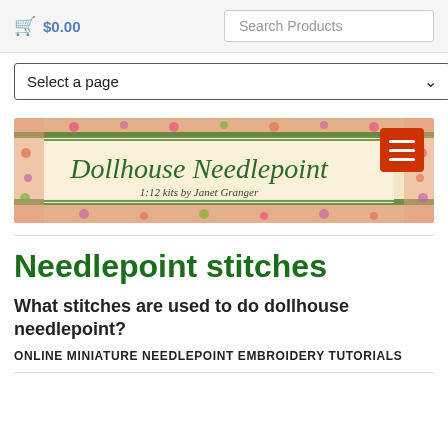$0.00  Search Products
Select a page
[Figure (illustration): Dollhouse Needlepoint banner with floral border. Text reads: 'Dollhouse Needlepoint' in green script. Subtitle: '1:12 kits by Janet Granger'. Red hamburger menu button in top right corner.]
Needlepoint stitches
What stitches are used to do dollhouse needlepoint?
ONLINE MINIATURE NEEDLEPOINT EMBROIDERY TUTORIALS